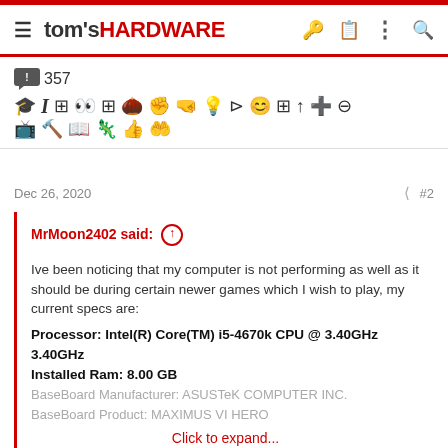tom's HARDWARE
[Figure (screenshot): Toolbar with comment count 357 and various editor/reaction icons in two rows]
Dec 26, 2020  #2
MrMoon2402 said: ↑

Ive been noticing that my computer is not performing as well as it should be during certain newer games which I wish to play, my current specs are:
Processor: Intel(R) Core(TM) i5-4670k CPU @ 3.40GHz 3.40GHz
Installed Ram: 8.00 GB
BaseBoard Manufacturer: ASUSTeK COMPUTER INC.
BaseBoard Product: MAXIMUS VI HERO

Click to expand...